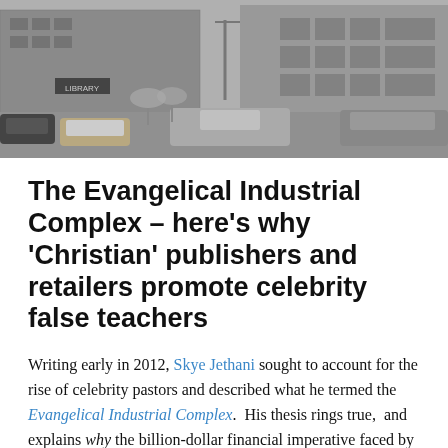[Figure (photo): Black and white photograph of a large modern building exterior with a parking lot in the foreground containing several cars. A sign reading 'LIBRARY' is visible on the building facade.]
The Evangelical Industrial Complex – here's why 'Christian' publishers and retailers promote celebrity false teachers
Writing early in 2012, Skye Jethani sought to account for the rise of celebrity pastors and described what he termed the Evangelical Industrial Complex. His thesis rings true, and explains why the billion-dollar financial imperative faced by 'Christian' publishers